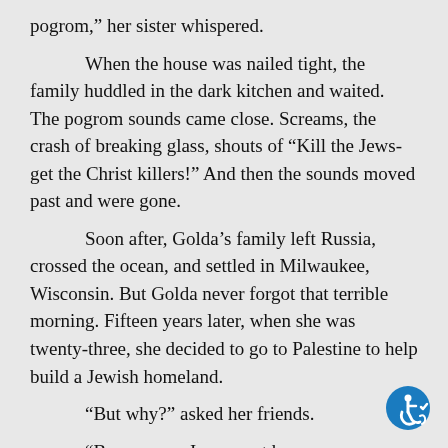pogrom,” her sister whispered.
When the house was nailed tight, the family huddled in the dark kitchen and waited. The pogrom sounds came close. Screams, the crash of breaking glass, shouts of “Kill the Jews-get the Christ killers!” And then the sounds moved past and were gone.
Soon after, Golda’s family left Russia, crossed the ocean, and settled in Milwaukee, Wisconsin. But Golda never forgot that terrible morning. Fifteen years later, when she was twenty-three, she decided to go to Palestine to help build a Jewish homeland.
“But why?” asked her friends.
“Because we Jews must have our own land,” Golda said. “I am determined to save other little Jewish children from this kind of experience.”
[Figure (illustration): Accessibility icon (wheelchair symbol) in blue circle with checkmark]